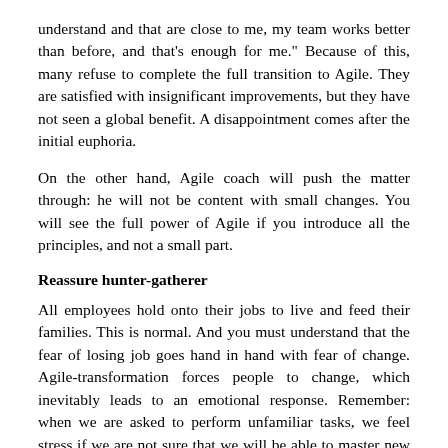understand and that are close to me, my team works better than before, and that's enough for me." Because of this, many refuse to complete the full transition to Agile. They are satisfied with insignificant improvements, but they have not seen a global benefit. A disappointment comes after the initial euphoria.
On the other hand, Agile coach will push the matter through: he will not be content with small changes. You will see the full power of Agile if you introduce all the principles, and not a small part.
Reassure hunter-gatherer
All employees hold onto their jobs to live and feed their families. This is normal. And you must understand that the fear of losing job goes hand in hand with fear of change. Agile-transformation forces people to change, which inevitably leads to an emotional response. Remember: when we are asked to perform unfamiliar tasks, we feel stress if we are not sure that we will be able to master new skills easily.